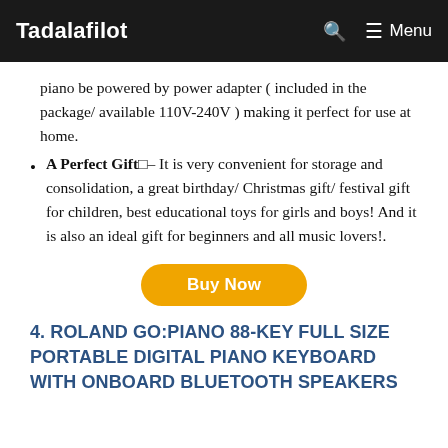Tadalafilot   Menu
piano be powered by power adapter ( included in the package/ available 110V-240V ) making it perfect for use at home.
A Perfect Gift□– It is very convenient for storage and consolidation, a great birthday/ Christmas gift/ festival gift for children, best educational toys for girls and boys! And it is also an ideal gift for beginners and all music lovers!.
Buy Now
4. ROLAND GO:PIANO 88-KEY FULL SIZE PORTABLE DIGITAL PIANO KEYBOARD WITH ONBOARD BLUETOOTH SPEAKERS